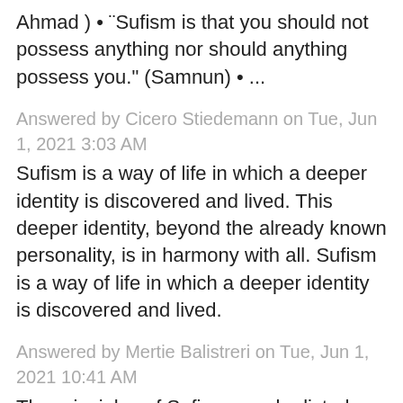Ahmad ) • "Sufism is that you should not possess anything nor should anything possess you." (Samnun) • ...
Answered by Cicero Stiedemann on Tue, Jun 1, 2021 3:03 AM
Sufism is a way of life in which a deeper identity is discovered and lived. This deeper identity, beyond the already known personality, is in harmony with all. Sufism is a way of life in which a deeper identity is discovered and lived.
Answered by Mertie Balistreri on Tue, Jun 1, 2021 10:41 AM
The principles of Sufism may be listed as follows: Reaching true belief in God's Divine Oneness and living in accordance with its demands. Heeding the Divine Speech (the Qur'an), discerning and then